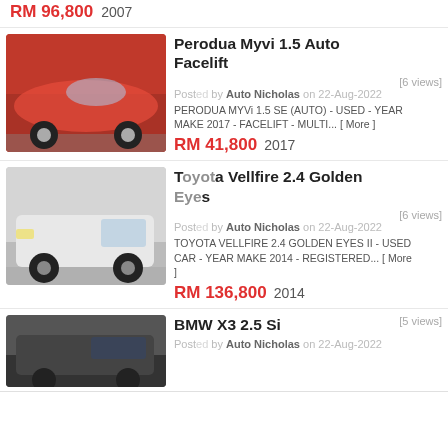RM 96,800   2007
Perodua Myvi 1.5 Auto Facelift
[6 views]
Posted by Auto Nicholas on 22-Aug-2022
PERODUA MYVi 1.5 SE (AUTO) - USED - YEAR MAKE 2017 - FACELIFT - MULTI... [ More ]
RM 41,800   2017
Toyota Vellfire 2.4 Golden Eyes
[6 views]
Posted by Auto Nicholas on 22-Aug-2022
TOYOTA VELLFIRE 2.4 GOLDEN EYES II - USED CAR - YEAR MAKE 2014 - REGISTERED... [ More ]
RM 136,800   2014
BMW X3 2.5 Si
[5 views]
Posted by Auto Nicholas on 22-Aug-2022